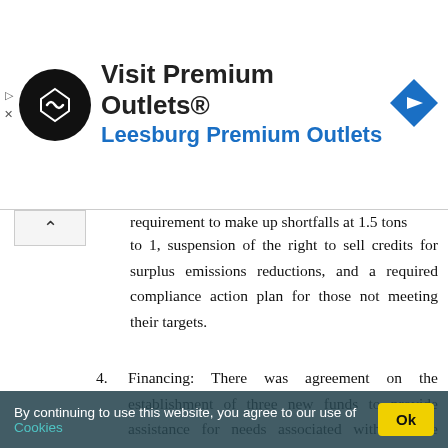[Figure (infographic): Advertisement banner: Visit Premium Outlets® Leesburg Premium Outlets, with circular black logo with white arrows, and blue diamond navigation icon on right.]
requirement to make up shortfalls at 1.5 tons to 1, suspension of the right to sell credits for surplus emissions reductions, and a required compliance action plan for those not meeting their targets.
4. Financing: There was agreement on the establishment of three new funds to provide assistance for needs associated with climate change: (1) a fund for climate change that supports a series of climate measures; (2) a least-developed-country fund to support National Adaptation Programs of Action; and (3)
[Figure (infographic): Cookie consent banner overlay: 'By continuing to use this website, you agree to our use of Cookies' with Ok button.]